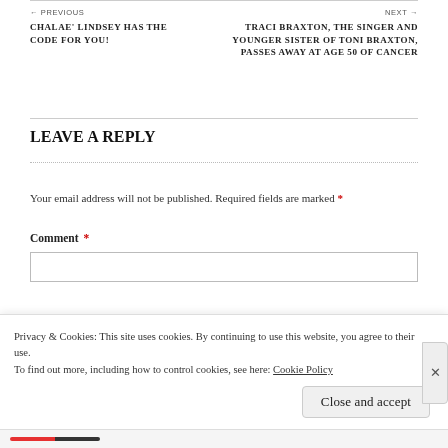← PREVIOUS
CHALAE' LINDSEY HAS THE CODE FOR YOU!
NEXT →
TRACI BRAXTON, THE SINGER AND YOUNGER SISTER OF TONI BRAXTON, PASSES AWAY AT AGE 50 OF CANCER
LEAVE A REPLY
Your email address will not be published. Required fields are marked *
Comment *
Privacy & Cookies: This site uses cookies. By continuing to use this website, you agree to their use.
To find out more, including how to control cookies, see here: Cookie Policy
Close and accept